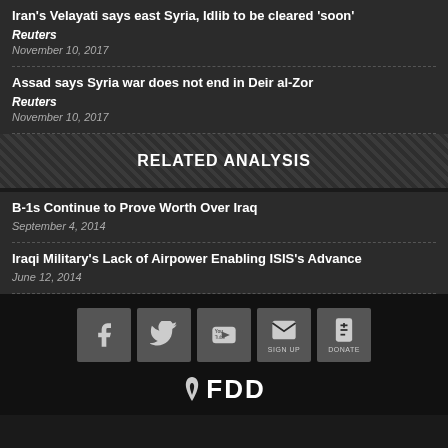Iran's Velayati says east Syria, Idlib to be cleared 'soon'
Reuters
November 10, 2017
Assad says Syria war does not end in Deir al-Zor
Reuters
November 10, 2017
RELATED ANALYSIS
B-1s Continue to Prove Worth Over Iraq
September 4, 2014
Iraqi Military's Lack of Airpower Enabling ISIS's Advance
June 12, 2014
[Figure (logo): Social media icons: Facebook, Twitter, YouTube, Sign Up (email), Donate; and FDD logo]
FDD